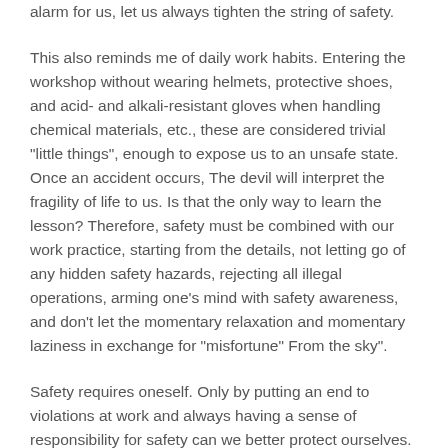alarm for us, let us always tighten the string of safety.
This also reminds me of daily work habits. Entering the workshop without wearing helmets, protective shoes, and acid- and alkali-resistant gloves when handling chemical materials, etc., these are considered trivial "little things", enough to expose us to an unsafe state. Once an accident occurs, The devil will interpret the fragility of life to us. Is that the only way to learn the lesson? Therefore, safety must be combined with our work practice, starting from the details, not letting go of any hidden safety hazards, rejecting all illegal operations, arming one's mind with safety awareness, and don't let the momentary relaxation and momentary laziness in exchange for "misfortune" From the sky".
Safety requires oneself. Only by putting an end to violations at work and always having a sense of responsibility for safety can we better protect ourselves. Only in Qilu can everyone be more prosperous, and our little family can be happy!